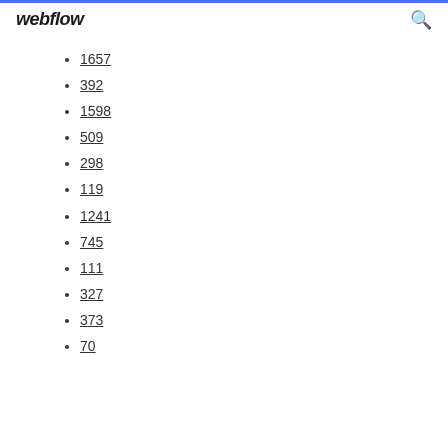webflow
1657
392
1598
509
298
119
1241
745
111
327
373
70